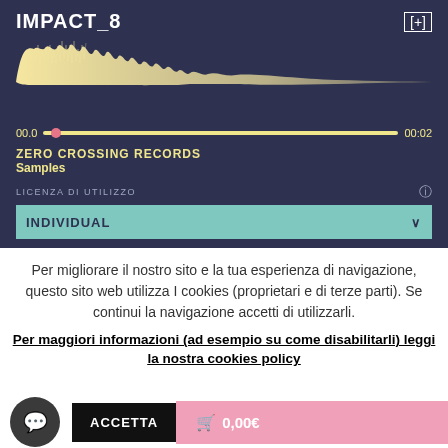IMPACT_8
[Figure (continuous-plot): Audio waveform showing a sound with high amplitude at the start that decays to a thin line toward the right, yellowish color on dark blue background]
00.0   00:02
ZERO CROSSING RECORDS
Samples
LICENZA DI UTILIZZO
INDIVIDUAL
Per migliorare il nostro sito e la tua esperienza di navigazione, questo sito web utilizza I cookies (proprietari e di terze parti). Se continui la navigazione accetti di utilizzarli.
Per maggiori informazioni (ad esempio su come disabilitarli) leggi la nostra cookies policy
ACCETTA
🛒 0,00€